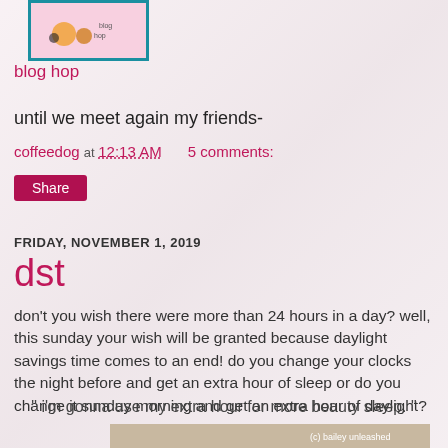[Figure (illustration): Small pixel-art style image of animals on pink background with teal border, blog hop image]
blog hop
until we meet again my friends-
coffeedog at 12:13 AM    5 comments:
Share
FRIDAY, NOVEMBER 1, 2019
dst
don't you wish there were more than 24 hours in a day? well, this sunday your wish will be granted because daylight savings time comes to an end! do you change your clocks the night before and get an extra hour of sleep or do you change it sunday morning and get an extra hour of daylight?
" i'm gonna use my extra hour for more beauty sleep. "
[Figure (photo): Bottom portion of image with watermark (c) bailey unleashed]